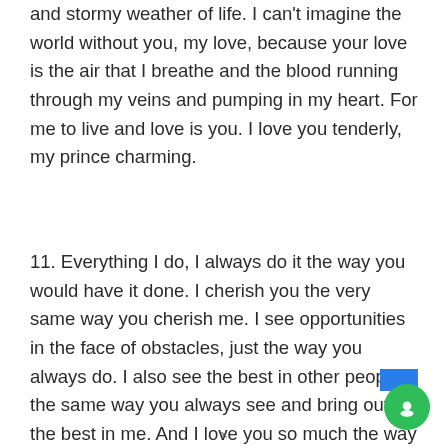and stormy weather of life. I can't imagine the world without you, my love, because your love is the air that I breathe and the blood running through my veins and pumping in my heart. For me to live and love is you. I love you tenderly, my prince charming.
11. Everything I do, I always do it the way you would have it done. I cherish you the very same way you cherish me. I see opportunities in the face of obstacles, just the way you always do. I also see the best in other people, the same way you always see and bring out the best in me. And I love you so much the way you love me. You know that I lov